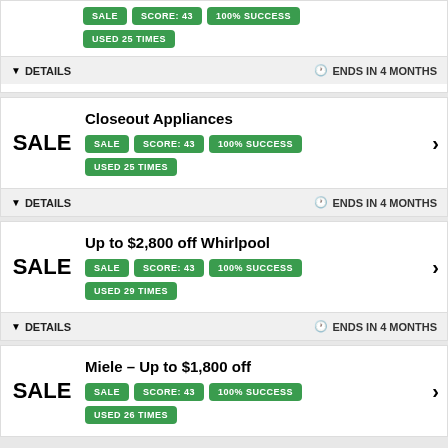Partial card top: tags SALE, SCORE: 43, 100% SUCCESS, USED 25 TIMES. Footer: DETAILS | ENDS IN 4 MONTHS
Closeout Appliances. SALE | SCORE: 43 | 100% SUCCESS | USED 25 TIMES. DETAILS | ENDS IN 4 MONTHS
Up to $2,800 off Whirlpool. SALE | SCORE: 43 | 100% SUCCESS | USED 29 TIMES. DETAILS | ENDS IN 4 MONTHS
Miele – Up to $1,800 off. SALE | SCORE: 43 | 100% SUCCESS | USED 26 TIMES.